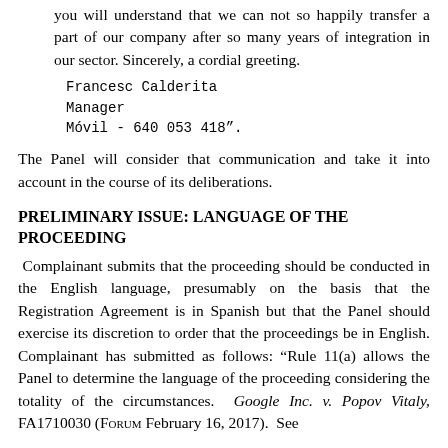you will understand that we can not so happily transfer a part of our company after so many years of integration in our sector. Sincerely, a cordial greeting.
Francesc Calderita
Manager
Móvil - 640 053 418".
The Panel will consider that communication and take it into account in the course of its deliberations.
PRELIMINARY ISSUE: LANGUAGE OF THE PROCEEDING
Complainant submits that the proceeding should be conducted in the English language, presumably on the basis that the Registration Agreement is in Spanish but that the Panel should exercise its discretion to order that the proceedings be in English. Complainant has submitted as follows: "Rule 11(a) allows the Panel to determine the language of the proceeding considering the totality of the circumstances.  Google Inc. v. Popov Vitaly, FA1710030 (Forum February 16, 2017).  See